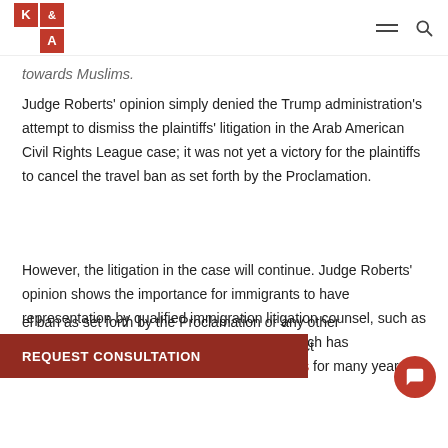K & A logo with navigation icons
towards Muslims.
Judge Roberts' opinion simply denied the Trump administration's attempt to dismiss the plaintiffs' litigation in the Arab American Civil Rights League case; it was not yet a victory for the plaintiffs to cancel the travel ban as set forth by the Proclamation.
However, the litigation in the case will continue. Judge Roberts' opinion shows the importance for immigrants to have representation by qualified immigration litigation counsel, such as the Law Offices of Kameli and Associates, which has successfully defended the rights of immigrants for many years.
el ban as set forth by the Proclamation or any other immigration issue, please contact
[Figure (other): REQUEST CONSULTATION red button bar]
[Figure (other): Red circular chat bubble icon]